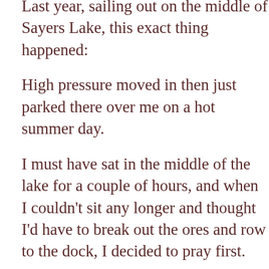Last year, sailing out on the middle of Sayers Lake, this exact thing happened:
High pressure moved in then just parked there over me on a hot summer day.
I must have sat in the middle of the lake for a couple of hours, and when I couldn't sit any longer and thought I'd have to break out the ores and row to the dock, I decided to pray first.
Why not?
Now, I know it might sound hokey to pray for wind to get me back to